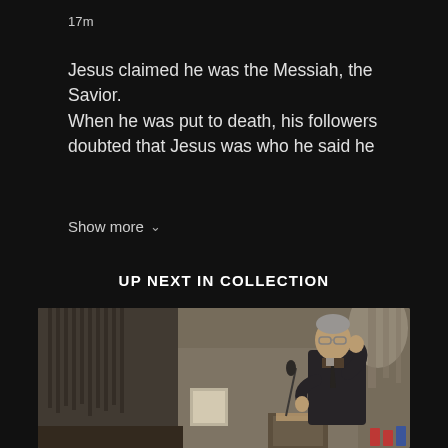17m
Jesus claimed he was the Messiah, the Savior.
When he was put to death, his followers doubted that Jesus was who he said he
Show more
UP NEXT IN COLLECTION
[Figure (photo): A man in a dark suit speaking at a pulpit in a church, with stained glass and ornate architecture visible in the background. He appears to be giving a sermon with one hand raised near his face.]